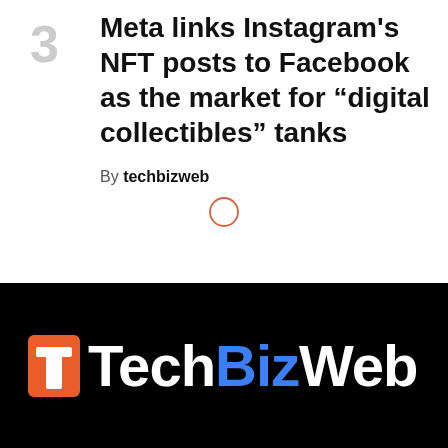Meta links Instagram's NFT posts to Facebook as the market for "digital collectibles" tanks
By techbizweb
[Figure (other): A small orange circle outline icon centered on the page]
[Figure (logo): TechBizWeb logo on black background with orange 't' icon, white 'Tech', blue 'Biz', white 'Web' text]